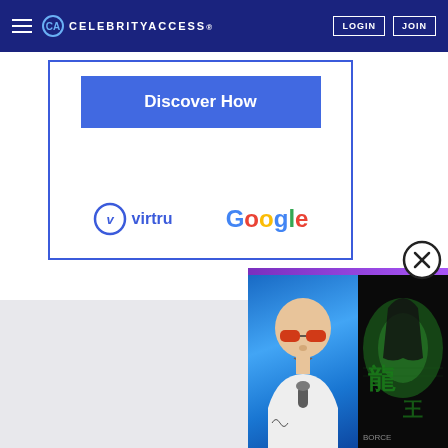CELEBRITYACCESS. LOGIN JOIN
[Figure (logo): Advertisement box with 'Discover How' button and Virtru + Google logos]
[Figure (photo): Video thumbnail showing a man with sunglasses and microphone next to album art with green and black design]